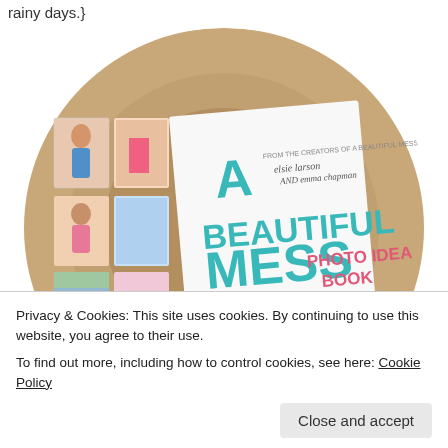rainy days.}
[Figure (photo): Circular cropped photo showing 'A Beautiful Mess Photo Idea Book' by elsie larson and emma chapman, displayed on a wooden surface with photo collages visible]
Privacy & Cookies: This site uses cookies. By continuing to use this website, you agree to their use.
To find out more, including how to control cookies, see here: Cookie Policy
Close and accept